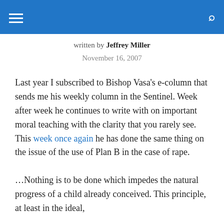[hamburger menu] [search icon]
written by Jeffrey Miller
November 16, 2007
Last year I subscribed to Bishop Vasa's e-column that sends me his weekly column in the Sentinel. Week after week he continues to write with on important moral teaching with the clarity that you rarely see. This week once again he has done the same thing on the issue of the use of Plan B in the case of rape.
…Nothing is to be done which impedes the natural progress of a child already conceived. This principle, at least in the ideal,